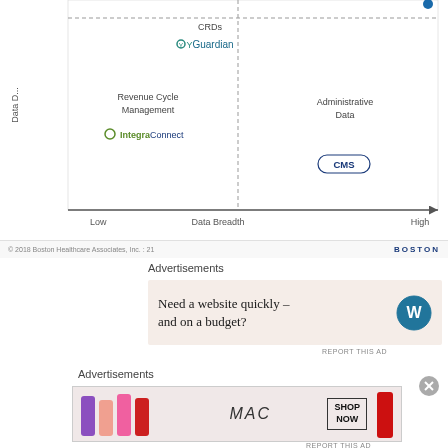[Figure (other): Bottom portion of a scatter/quadrant chart showing Data Depth vs Data Breadth axes. Visible items: CRDs with YGuardian logo, Revenue Cycle Management with IntegraConnect logo, Administrative Data with CMS logo. Axes labeled Low/High for Data Breadth.]
© 2018 Boston Healthcare Associates, Inc. : 21   BOSTON
Advertisements
[Figure (other): Advertisement banner: 'Need a website quickly – and on a budget?' with WordPress logo on beige background.]
REPORT THIS AD
Advertisements
[Figure (other): Advertisement banner for MAC cosmetics showing lipsticks and SHOP NOW button.]
REPORT THIS AD